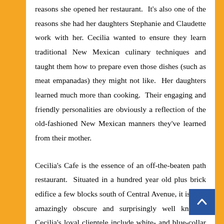reasons she opened her restaurant. It's also one of the reasons she had her daughters Stephanie and Claudette work with her. Cecilia wanted to ensure they learn traditional New Mexican culinary techniques and taught them how to prepare even those dishes (such as meat empanadas) they might not like. Her daughters learned much more than cooking. Their engaging and friendly personalities are obviously a reflection of the old-fashioned New Mexican manners they've learned from their mother.
Cecilia's Cafe is the essence of an off-the-beaten path restaurant. Situated in a hundred year old plus brick edifice a few blocks south of Central Avenue, it is both amazingly obscure and surprisingly well known. Cecilia's loyal clientele include white- and blue-collar workers who have frequented her cafe from the start. That clientele includes Ed Romero, former ambassador to Spain, a New Mexico native. Romero